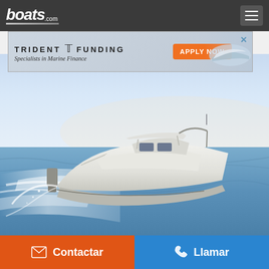boats.com
[Figure (screenshot): Trident Funding advertisement banner - Specialists in Marine Finance with APPLY NOW orange button]
[Figure (photo): White center-console sport boat speeding across blue ocean water, aerial/side view showing wake and spray]
Bertram 28 XC 2023
Contactar
Llamar